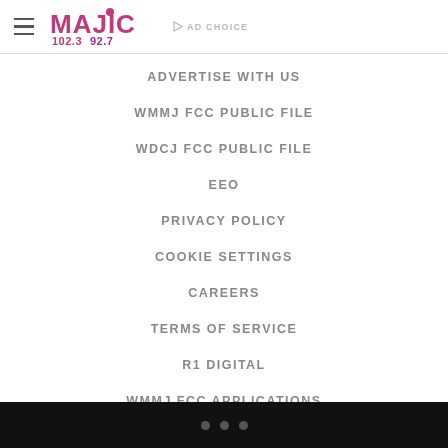[Figure (logo): Majic 102.3 92.7 radio station logo with hamburger menu icon and AD CHOICE label]
ADVERTISE WITH US
WMMJ FCC PUBLIC FILE
WDCJ FCC PUBLIC FILE
EEO
PRIVACY POLICY
COOKIE SETTINGS
CAREERS
TERMS OF SERVICE
R1 DIGITAL
WMMJ FCC APPLICATIONS
• • •